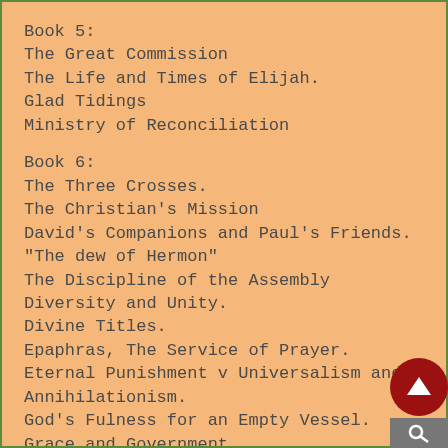Book 5:
The Great Commission
The Life and Times of Elijah.
Glad Tidings
Ministry of Reconciliation
Book 6:
The Three Crosses.
The Christian's Mission
David's Companions and Paul's Friends.
"The dew of Hermon"
The Discipline of the Assembly
Diversity and Unity.
Divine Titles.
Epaphras, The Service of Prayer.
Eternal Punishment v Universalism and Annihilationism.
God's Fulness for an Empty Vessel.
Grace and Government.
"Holy Brethren"
"There is one body"